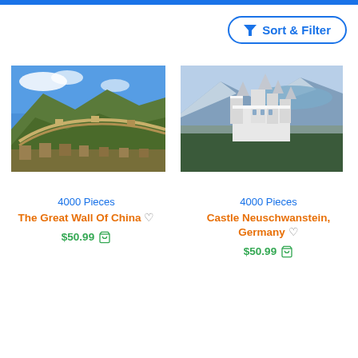[Figure (screenshot): Blue top navigation bar strip]
Sort & Filter
[Figure (photo): Photo of the Great Wall of China winding through green mountains under blue sky]
[Figure (photo): Aerial photo of Castle Neuschwanstein in winter snow surrounded by forest and a frozen lake]
4000 Pieces
The Great Wall Of China ♡
$50.99 🛒
4000 Pieces
Castle Neuschwanstein, Germany ♡
$50.99 🛒